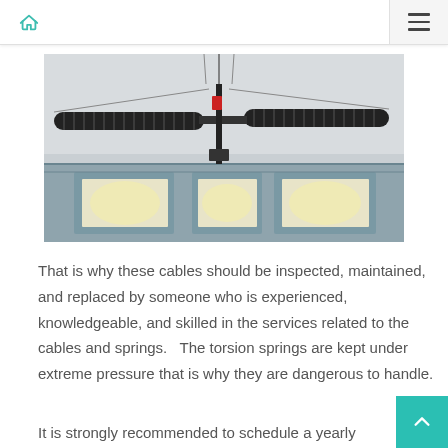Navigation bar with home icon and hamburger menu
[Figure (photo): Garage door torsion springs and cables mounted on the ceiling, showing two horizontal spring assemblies connected by a central rod with wires and hardware visible above a garage door with windows]
That is why these cables should be inspected, maintained, and replaced by someone who is experienced, knowledgeable, and skilled in the services related to the cables and springs.   The torsion springs are kept under extreme pressure that is why they are dangerous to handle.
It is strongly recommended to schedule a yearly